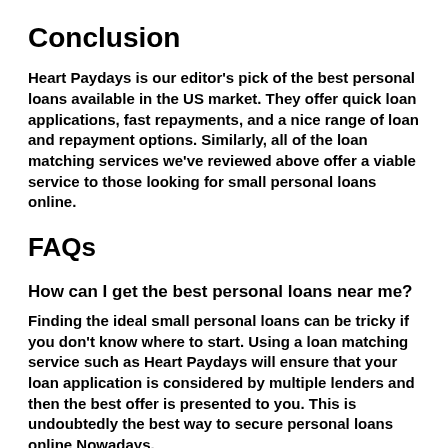Conclusion
Heart Paydays is our editor's pick of the best personal loans available in the US market. They offer quick loan applications, fast repayments, and a nice range of loan and repayment options. Similarly, all of the loan matching services we've reviewed above offer a viable service to those looking for small personal loans online.
FAQs
How can I get the best personal loans near me?
Finding the ideal small personal loans can be tricky if you don't know where to start. Using a loan matching service such as Heart Paydays will ensure that your loan application is considered by multiple lenders and then the best offer is presented to you. This is undoubtedly the best way to secure personal loans online Nowadays.
How many personal loans can I get in the United States?